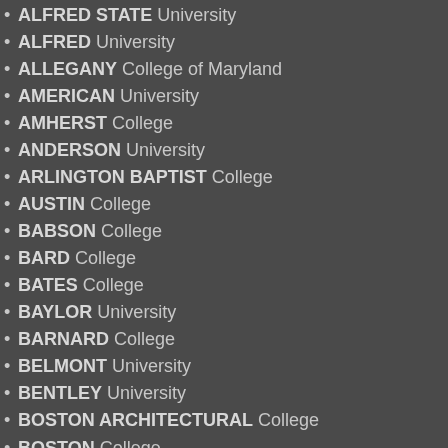ALFRED STATE University
ALFRED University
ALLEGANY College of Maryland
AMERICAN University
AMHERST College
ANDERSON University
ARLINGTON BAPTIST College
AUSTIN College
BABSON College
BARD College
BATES College
BAYLOR University
BARNARD College
BELMONT University
BENTLEY University
BOSTON ARCHITECTURAL College
BOSTON College
BOSTON University
BLINN College